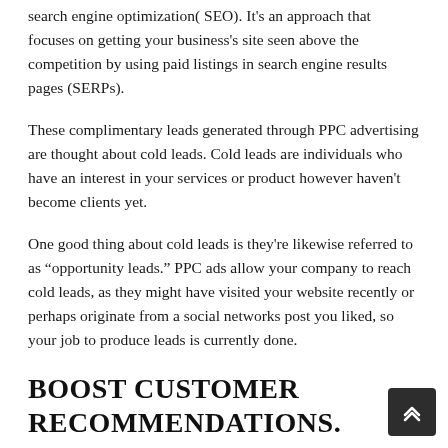search engine optimization( SEO). It's an approach that focuses on getting your business's site seen above the competition by using paid listings in search engine results pages (SERPs).
These complimentary leads generated through PPC advertising are thought about cold leads. Cold leads are individuals who have an interest in your services or product however haven't become clients yet.
One good thing about cold leads is they're likewise referred to as “opportunity leads.” PPC ads allow your company to reach cold leads, as they might have visited your website recently or perhaps originate from a social networks post you liked, so your job to produce leads is currently done.
BOOST CUSTOMER RECOMMENDATIONS.